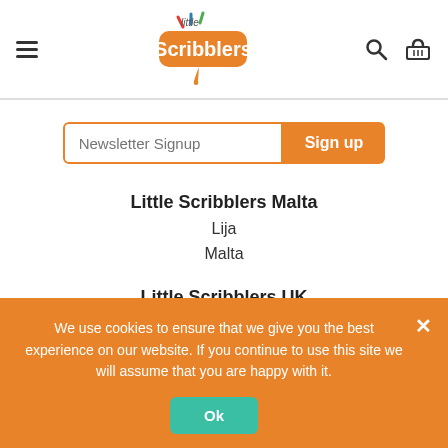Little Scribblers — navigation header with hamburger menu, logo, search and basket icons
Newsletter Signup
Sign up
Little Scribblers Malta
Lija
Malta
Little Scribblers UK
29-32 High Street
Newburgh, KY14 6AH
We use cookies to ensure that we give you the best experience on our website. If you continue to use this site we will assume that you are happy with it.
Ok